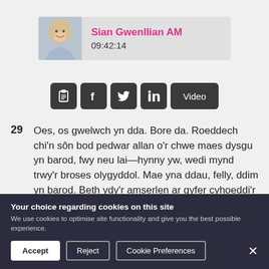[Figure (photo): Headshot photo of Sian Gwenllian AM, a woman with short blonde hair, smiling, wearing a light blue top.]
Sian Gwenllian AM
09:42:14
[Figure (infographic): Row of social/action icon buttons: clipboard icon, Facebook icon, Twitter icon, LinkedIn icon, and a Video button.]
29   Oes, os gwelwch yn dda. Bore da. Roeddech chi'n sôn bod pedwar allan o'r chwe maes dysgu yn barod, fwy neu lai—hynny yw, wedi mynd trwy'r broses olygyddol. Mae yna ddau, felly, ddim yn barod. Beth ydy'r amserlen ar gyfer cyhoeddi'r rheini a pha bit fydd yn rheini?
Your choice regarding cookies on this site
We use cookies to optimise site functionality and give you the best possible experience.
Accept   Reject   Cookie Preferences   ×